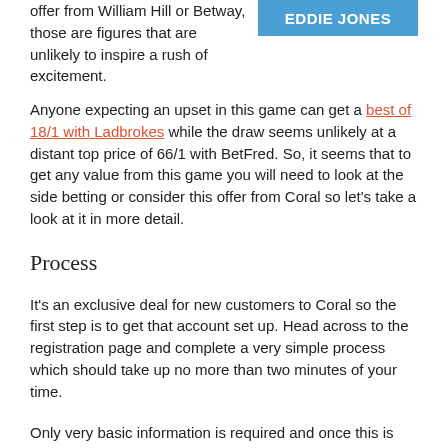offer from William Hill or Betway, those are figures that are unlikely to inspire a rush of excitement.
[Figure (other): Blue banner with white bold text reading EDDIE JONES]
Anyone expecting an upset in this game can get a best of 18/1 with Ladbrokes while the draw seems unlikely at a distant top price of 66/1 with BetFred. So, it seems that to get any value from this game you will need to look at the side betting or consider this offer from Coral so let's take a look at it in more detail.
Process
It's an exclusive deal for new customers to Coral so the first step is to get that account set up. Head across to the registration page and complete a very simple process which should take up no more than two minutes of your time.
Only very basic information is required and once this is complete, Coral should take you to their cashier so that you can cover the bet. Fund at least £5.00 and note that we suggest using a debit or credit card at this stage as certain eWallets including Skrill, Neteller and PaySafeCard are specifically excluded from the offer.